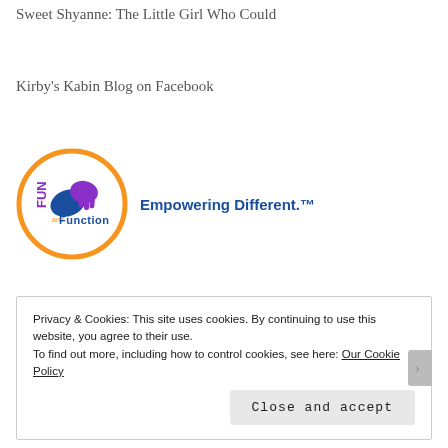Sweet Shyanne: The Little Girl Who Could
Kirby's Kabin Blog on Facebook
[Figure (logo): Fun and Function logo: circular orange border with blue and purple hand/splash icons and text 'FUN and Function' inside, next to bold blue text 'Empowering Different.™']
Privacy & Cookies: This site uses cookies. By continuing to use this website, you agree to their use.
To find out more, including how to control cookies, see here: Our Cookie Policy
Close and accept